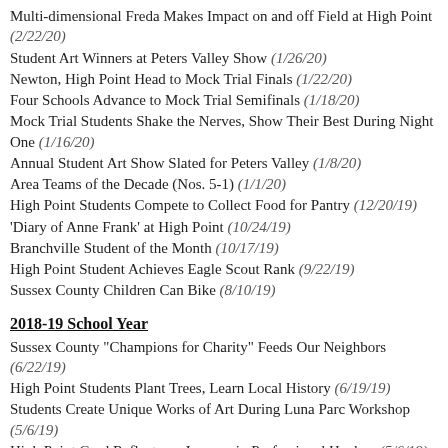Multi-dimensional Freda Makes Impact on and off Field at High Point (2/22/20)
Student Art Winners at Peters Valley Show (1/26/20)
Newton, High Point Head to Mock Trial Finals (1/22/20)
Four Schools Advance to Mock Trial Semifinals (1/18/20)
Mock Trial Students Shake the Nerves, Show Their Best During Night One (1/16/20)
Annual Student Art Show Slated for Peters Valley (1/8/20)
Area Teams of the Decade (Nos. 5-1) (1/1/20)
High Point Students Compete to Collect Food for Pantry (12/20/19)
'Diary of Anne Frank' at High Point (10/24/19)
Branchville Student of the Month (10/17/19)
High Point Student Achieves Eagle Scout Rank (9/22/19)
Sussex County Children Can Bike (8/10/19)
2018-19 School Year
Sussex County "Champions for Charity" Feeds Our Neighbors (6/22/19)
High Point Students Plant Trees, Learn Local History (6/19/19)
Students Create Unique Works of Art During Luna Parc Workshop (5/6/19)
High Point Grad Reflects on Journey in Professional Hockey (5/6/19)
Social Media Art ...